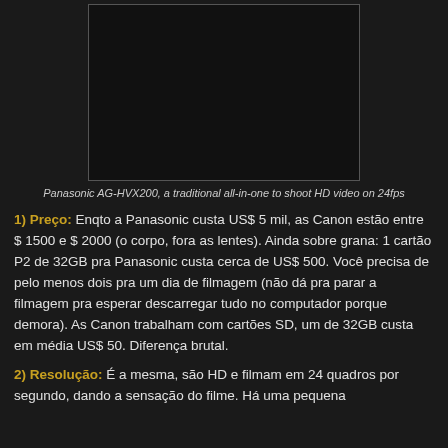[Figure (photo): Panasonic AG-HVX200 camera, shown as a dark/black image box]
Panasonic AG-HVX200, a traditional all-in-one to shoot HD video on 24fps
1) Preço: Enqto a Panasonic custa US$ 5 mil, as Canon estão entre $ 1500 e $ 2000 (o corpo, fora as lentes). Ainda sobre grana: 1 cartão P2 de 32GB pra Panasonic custa cerca de US$ 500. Você precisa de pelo menos dois pra um dia de filmagem (não dá pra parar a filmagem pra esperar descarregar tudo no computador porque demora). As Canon trabalham com cartões SD, um de 32GB custa em média US$ 50. Diferença brutal.
2) Resolução: É a mesma, são HD e filmam em 24 quadros por segundo, dando a sensação do filme. Há uma pequena